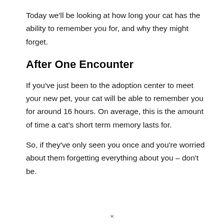Today we'll be looking at how long your cat has the ability to remember you for, and why they might forget.
After One Encounter
If you've just been to the adoption center to meet your new pet, your cat will be able to remember you for around 16 hours. On average, this is the amount of time a cat's short term memory lasts for.
So, if they've only seen you once and you're worried about them forgetting everything about you – don't be.
×